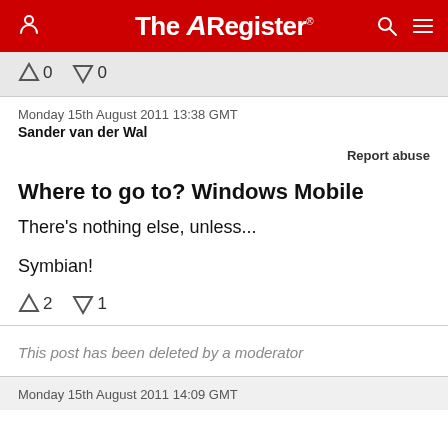The Register
↑0  ↓0
Monday 15th August 2011 13:38 GMT
Sander van der Wal
Report abuse
Where to go to? Windows Mobile
There's nothing else, unless...
Symbian!
↑2  ↓1
This post has been deleted by a moderator
Monday 15th August 2011 14:09 GMT